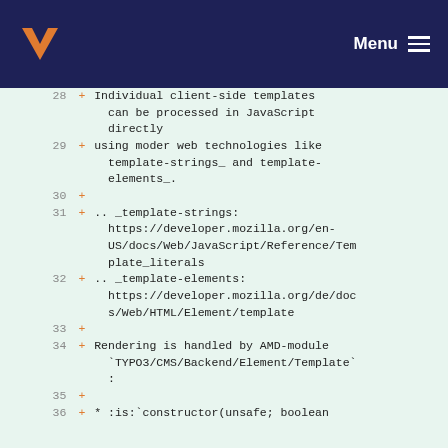Menu
28 + Individual client-side templates can be processed in JavaScript directly
29 + using moder web technologies like template-strings_ and template-elements_.
30 +
31 + .. _template-strings: https://developer.mozilla.org/en-US/docs/Web/JavaScript/Reference/Template_literals
32 + .. _template-elements: https://developer.mozilla.org/de/docs/Web/HTML/Element/template
33 +
34 + Rendering is handled by AMD-module `TYPO3/CMS/Backend/Element/Template` :
35 +
36 + * :is:`constructor(unsafe; boolean